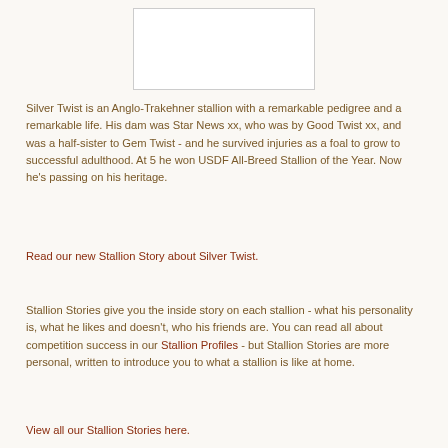[Figure (photo): Placeholder image area at top of page showing a white rectangle with light gray border]
Silver Twist is an Anglo-Trakehner stallion with a remarkable pedigree and a remarkable life. His dam was Star News xx, who was by Good Twist xx, and was a half-sister to Gem Twist - and he survived injuries as a foal to grow to successful adulthood. At 5 he won USDF All-Breed Stallion of the Year. Now he's passing on his heritage.
Read our new Stallion Story about Silver Twist.
Stallion Stories give you the inside story on each stallion - what his personality is, what he likes and doesn't, who his friends are. You can read all about competition success in our Stallion Profiles - but Stallion Stories are more personal, written to introduce you to what a stallion is like at home.
View all our Stallion Stories here.